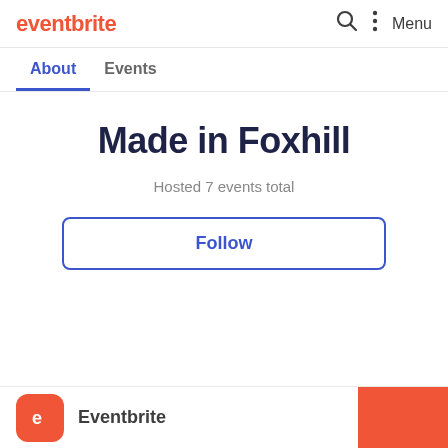eventbrite  Menu
About  Events
Made in Foxhill
Hosted 7 events total
Follow
[Figure (other): Facebook and Twitter social share icons (circular grey buttons)]
Eventbrite